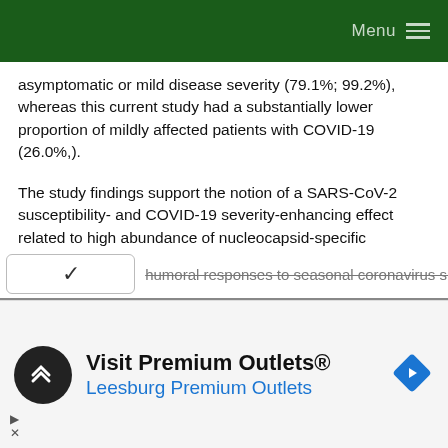Menu
asymptomatic or mild disease severity (79.1%; 99.2%), whereas this current study had a substantially lower proportion of mildly affected patients with COVID-19 (26.0%,).
The study findings support the notion of a SARS-CoV-2 susceptibility- and COVID-19 severity-enhancing effect related to high abundance of nucleocapsid-specific antibodies against α-coronaviruses and possibly β-coronavirus HCoV-HKU1.
In addition, the study findings indicate that SARS-CoV-2 susceptibility is enhanced by pre-existing antibodies targeting the spike antigen of HCoV-OC43.
humoral responses to seasonal coronavirus spike.
[Figure (other): Advertisement banner: Visit Premium Outlets® / Leesburg Premium Outlets with logo and navigation arrow icon]